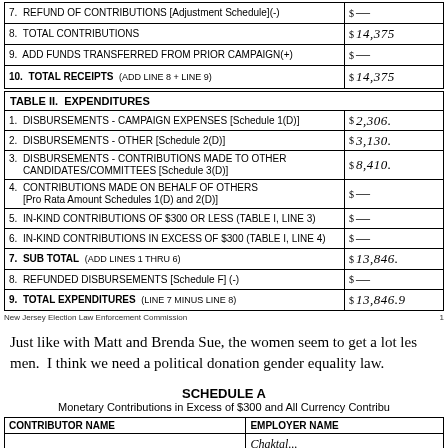| Line | Description | Amount |
| --- | --- | --- |
| 7 | REFUND OF CONTRIBUTIONS [Adjustment Schedule] (-) | $ — |
| 8 | TOTAL CONTRIBUTIONS | $ 14,375 |
| 9 | ADD FUNDS TRANSFERRED FROM PRIOR CAMPAIGN (+) | $ — |
| 10 | TOTAL RECEIPTS (ADD LINE 8 + LINE 9) | $ 14,375 |
TABLE II. EXPENDITURES
| Line | Description | Amount |
| --- | --- | --- |
| 1 | DISBURSEMENTS - CAMPAIGN EXPENSES [Schedule 1(D)] | $ 2,306. |
| 2 | DISBURSEMENTS - OTHER [Schedule 2(D)] | $ 3,130. |
| 3 | DISBURSEMENTS - CONTRIBUTIONS MADE TO OTHER CANDIDATES/COMMITTEES [Schedule 3(D)] | $ 8,410. |
| 4 | CONTRIBUTIONS MADE ON BEHALF OF OTHERS [Pro Rata Amount Schedules 1(D) and 2(D)] | $ — |
| 5 | IN-KIND CONTRIBUTIONS OF $300 OR LESS (TABLE I, LINE 3) | $ — |
| 6 | IN-KIND CONTRIBUTIONS IN EXCESS OF $300 (TABLE I, LINE 4) | $ — |
| 7 | SUB TOTAL (ADD LINES 1 THRU 6) | $ 13,846. |
| 8 | REFUNDED DISBURSEMENTS [Schedule F] (-) | $ — |
| 9 | TOTAL EXPENDITURES (LINE 7 MINUS LINE 8) | $ 13,846.9 |
New Jersey Election Law Enforcement Commission   1
Just like with Matt and Brenda Sue, the women seem to get a lot less than men. I think we need a political donation gender equality law.
SCHEDULE A
Monetary Contributions in Excess of $300 and All Currency Contributions
| CONTRIBUTOR NAME | EMPLOYER NAME |
| --- | --- |
|  | Chaktal... |